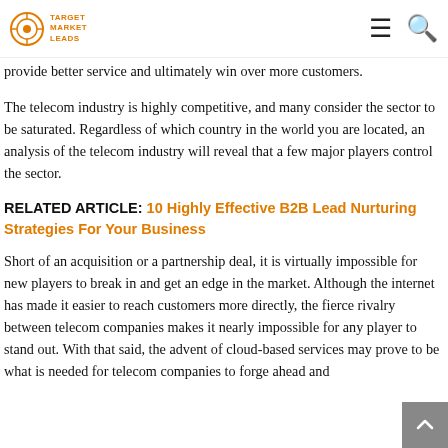Target Market Leads
provide better service and ultimately win over more customers.
The telecom industry is highly competitive, and many consider the sector to be saturated. Regardless of which country in the world you are located, an analysis of the telecom industry will reveal that a few major players control the sector.
RELATED ARTICLE: 10 Highly Effective B2B Lead Nurturing Strategies For Your Business
Short of an acquisition or a partnership deal, it is virtually impossible for new players to break in and get an edge in the market. Although the internet has made it easier to reach customers more directly, the fierce rivalry between telecom companies makes it nearly impossible for any player to stand out. With that said, the advent of cloud-based services may prove to be what is needed for telecom companies to forge ahead and